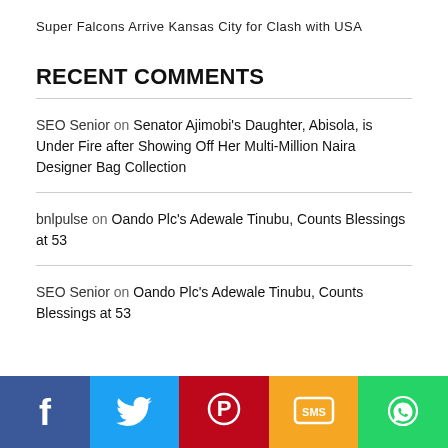Super Falcons Arrive Kansas City for Clash with USA
RECENT COMMENTS
SEO Senior on Senator Ajimobi's Daughter, Abisola, is Under Fire after Showing Off Her Multi-Million Naira Designer Bag Collection
bnlpulse on Oando Plc's Adewale Tinubu, Counts Blessings at 53
SEO Senior on Oando Plc's Adewale Tinubu, Counts Blessings at 53
[Figure (infographic): Social sharing bar with Facebook (blue), Twitter (light blue), Pinterest (red), SMS (yellow/orange), and WhatsApp (green) buttons]